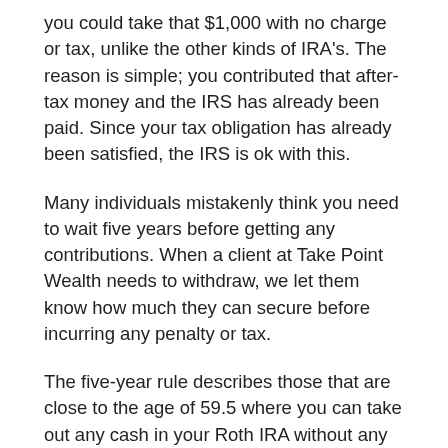you could take that $1,000 with no charge or tax, unlike the other kinds of IRA's. The reason is simple; you contributed that after-tax money and the IRS has already been paid. Since your tax obligation has already been satisfied, the IRS is ok with this.
Many individuals mistakenly think you need to wait five years before getting any contributions. When a client at Take Point Wealth needs to withdraw, we let them know how much they can secure before incurring any penalty or tax.
The five-year rule describes those that are close to the age of 59.5 where you can take out any cash in your Roth IRA without any tax or penalty. The issue here is that when you turn 59.5 if you want to secure any growth, you should have had the Roth for at least five years leading up to the qualified withdrawal. For example, let's say you open a Roth IRA this year, and you are 57 years of age. When you turn 59.5, you can get your contributions, BUT you would need to wait five years until you